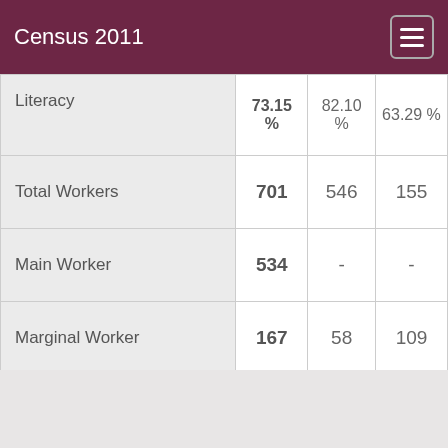Census 2011
|  | Total | Male | Female |
| --- | --- | --- | --- |
| Literacy | 73.15 % | 82.10 % | 63.29 % |
| Total Workers | 701 | 546 | 155 |
| Main Worker | 534 | - | - |
| Marginal Worker | 167 | 58 | 109 |